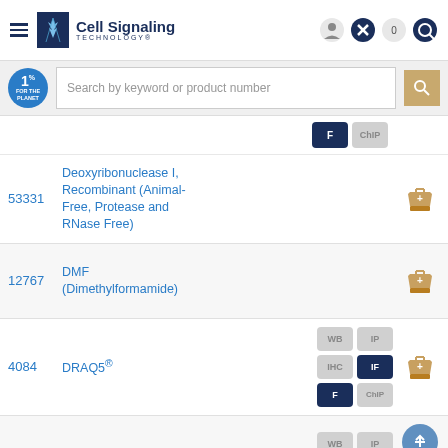[Figure (screenshot): Cell Signaling Technology website header with hamburger menu, logo, and icons]
[Figure (screenshot): Search bar with 1% for the Planet badge and search input field]
| ID | Product Name | Applications | Cart |
| --- | --- | --- | --- |
| 53331 | Deoxyribonuclease I, Recombinant (Animal-Free, Protease and RNase Free) |  |  |
| 12767 | DMF (Dimethylformamide) |  |  |
| 4084 | DRAQ5® | WB, IP, IHC, IF, F, ChIP |  |
| 7406 | DRAQ7™ | WB, IP, IHC, IF |  |